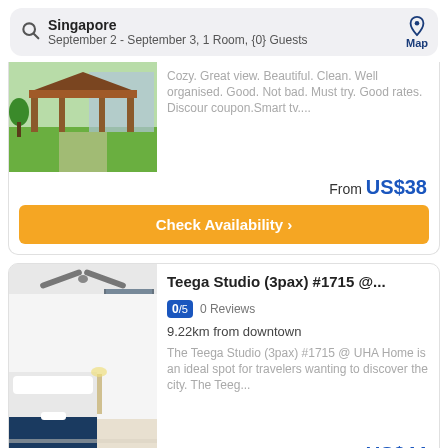Singapore — September 2 - September 3, 1 Room, {0} Guests — Map
Cozy. Great view. Beautiful. Clean. Well organised. Good. Not bad. Must try. Good rates. Discour coupon.Smart tv....
From US$38
Check Availability
Teega Studio (3pax) #1715 @...
0/5  0 Reviews
9.22km from downtown
The Teega Studio (3pax) #1715 @ UHA Home is an ideal spot for travelers wanting to discover the city. The Teeg...
From US$44
Check Availability